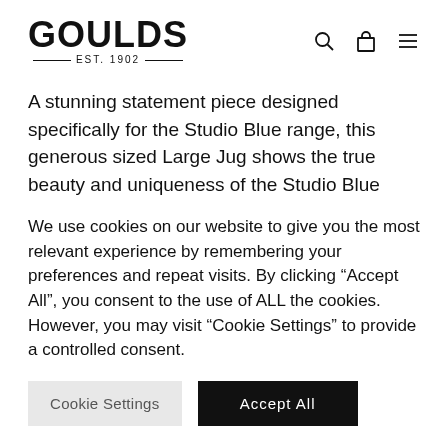GOULDS EST. 1902
A stunning statement piece designed specifically for the Studio Blue range, this generous sized Large Jug shows the true beauty and uniqueness of the Studio Blue glaze. A little more about the Studio Blue Large Jug: Hand Crafted in the Duchy Potteries for which...
We use cookies on our website to give you the most relevant experience by remembering your preferences and repeat visits. By clicking “Accept All”, you consent to the use of ALL the cookies. However, you may visit “Cookie Settings” to provide a controlled consent.